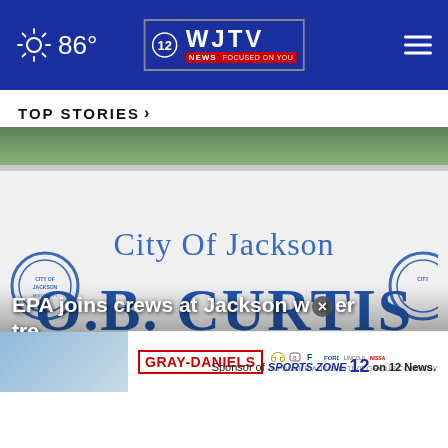86° WJTV 12 News Focused On You
TOP STORIES ›
[Figure (photo): Sign for City of Jackson O.B. Curtis Water Treatment facility, with circular city seals on either side. Blue text on light grey background.]
EPA joins crews at Jackson water treatment
[Figure (other): Gray-Daniels advertisement: Sponsor of Sports Zone 12 on 12 News, with car brand logos (Chevrolet, Buick, Ford, Lincoln, Nissan)]